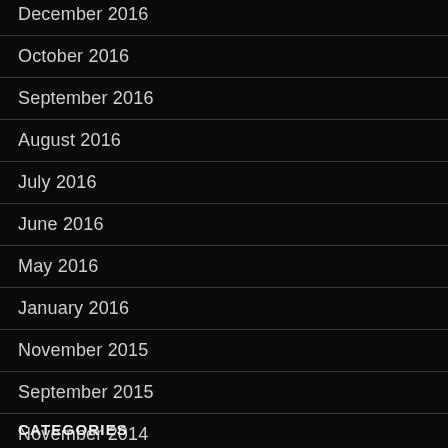December 2016
October 2016
September 2016
August 2016
July 2016
June 2016
May 2016
January 2016
November 2015
September 2015
November 2014
CATEGORIES